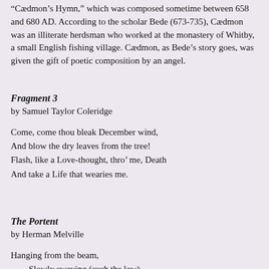"Cædmon's Hymn," which was composed sometime between 658 and 680 AD. According to the scholar Bede (673-735), Cædmon was an illiterate herdsman who worked at the monastery of Whitby, a small English fishing village. Cædmon, as Bede's story goes, was given the gift of poetic composition by an angel.
Fragment 3
by Samuel Taylor Coleridge
Come, come thou bleak December wind,
And blow the dry leaves from the tree!
Flash, like a Love-thought, thro' me, Death
And take a Life that wearies me.
The Portent
by Herman Melville
Hanging from the beam,
    Slowly swaying (such the law),
Gaunt the shadow on your green,
    Shenandoah!